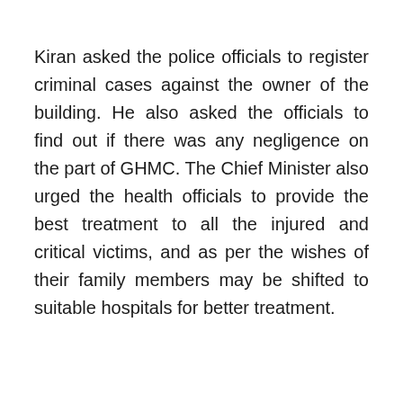Kiran asked the police officials to register criminal cases against the owner of the building. He also asked the officials to find out if there was any negligence on the part of GHMC. The Chief Minister also urged the health officials to provide the best treatment to all the injured and critical victims, and as per the wishes of their family members may be shifted to suitable hospitals for better treatment.